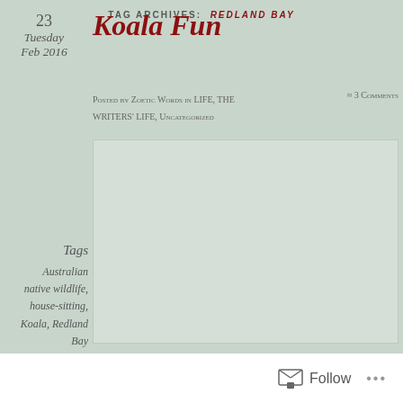TAG ARCHIVES: REDLAND BAY
23
Tuesday
Feb 2016
Koala Fun
Posted by Zoetic Words in LIFE, THE WRITERS' LIFE, Uncategorized ≈ 3 Comments
[Figure (photo): Image placeholder for koala-related photo, light grey rectangle]
Tags
Australian native wildlife, house-sitting, Koala, Redland Bay
Follow ...